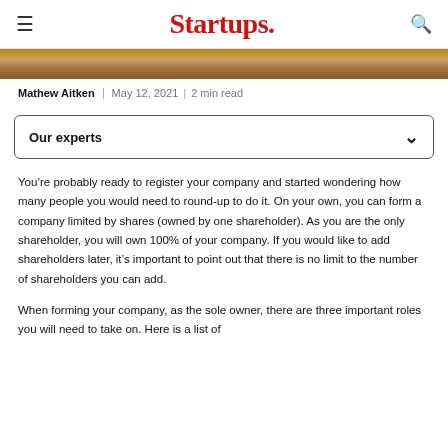Startups.
[Figure (photo): Partial view of a wooden surface or table, brown tones, top of page hero image]
Mathew Aitken  May 12, 2021 | 2 min read
Our experts
You’re probably ready to register your company and started wondering how many people you would need to round-up to do it. On your own, you can form a company limited by shares (owned by one shareholder). As you are the only shareholder, you will own 100% of your company. If you would like to add shareholders later, it’s important to point out that there is no limit to the number of shareholders you can add.
When forming your company, as the sole owner, there are three important roles you will need to take on. Here is a list of